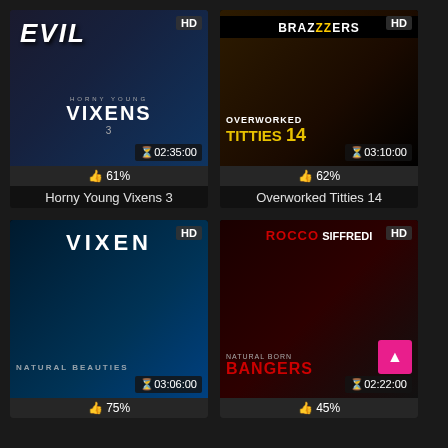[Figure (photo): Thumbnail for Horny Young Vixens 3, shows EVIL logo, duration 02:35:00, HD badge]
👍 61%
Horny Young Vixens 3
[Figure (photo): Thumbnail for Overworked Titties 14, shows Brazzers logo, duration 03:10:00, HD badge]
👍 62%
Overworked Titties 14
[Figure (photo): Thumbnail for Vixen Natural Beauties, duration 03:06:00, HD badge]
👍 75%
[Figure (photo): Thumbnail for Rocco Siffredi Natural Born Bangers, duration 02:22:00, HD badge]
👍 45%